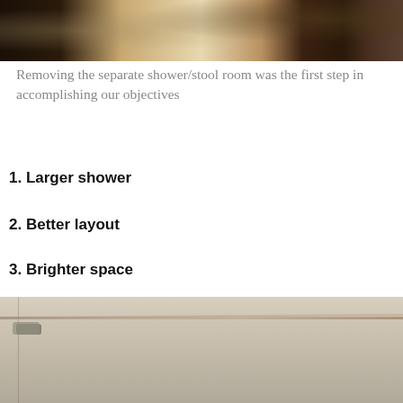[Figure (photo): Bathroom interior photo showing dark wood cabinets and partial view of the space, taken from above/angle]
Removing the separate shower/stool room was the first step in accomplishing our objectives
1.  Larger shower
2.  Better layout
3.  Brighter space
[Figure (photo): Photo of bathroom cabinetry or wall surface, beige/cream colored, showing a horizontal strip or countertop edge with a handle]